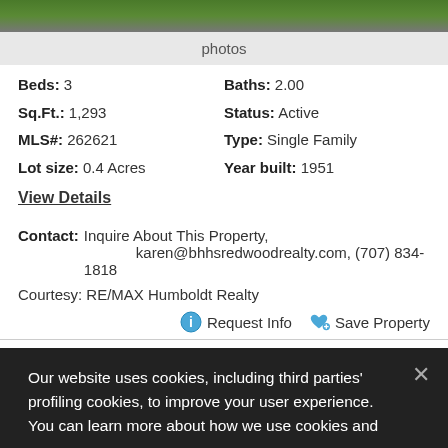[Figure (photo): Aerial or top portion of a property photo showing green grass/lawn area]
photos
Beds: 3
Sq.Ft.: 1,293
MLS#: 262621
Lot size: 0.4 Acres
Baths: 2.00
Status: Active
Type: Single Family
Year built: 1951
View Details
Contact: Inquire About This Property, karen@bhhsredwoodrealty.com, (707) 834-1818
Courtesy: RE/MAX Humboldt Realty
Request Info   Save Property
View additional info
Our website uses cookies, including third parties' profiling cookies, to improve your user experience. You can learn more about how we use cookies and